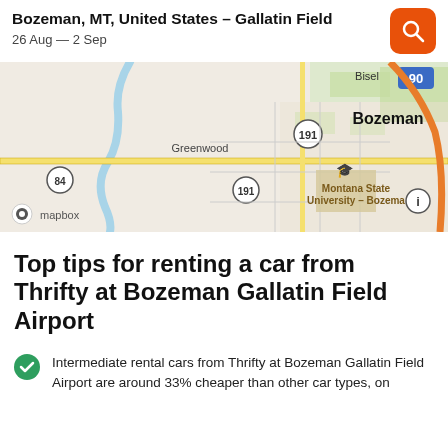Bozeman, MT, United States – Gallatin Field
26 Aug — 2 Sep
[Figure (map): Mapbox map showing Bozeman, MT area with Greenwood to the left, route 191, Montana State University – Bozeman, and highway 90 marked. Bisel labeled in upper area.]
Top tips for renting a car from Thrifty at Bozeman Gallatin Field Airport
Intermediate rental cars from Thrifty at Bozeman Gallatin Field Airport are around 33% cheaper than other car types, on